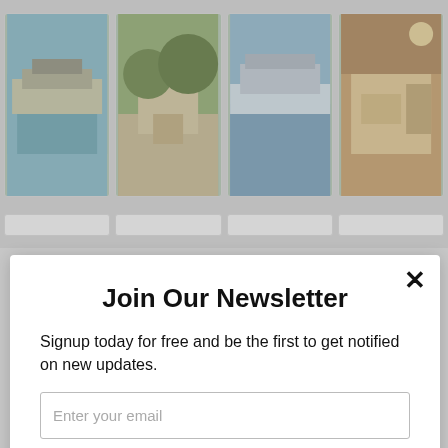[Figure (photo): Four property/real estate thumbnail photos in a horizontal row at the top of the page]
Join Our Newsletter
Signup today for free and be the first to get notified on new updates.
Enter your email (input field placeholder)
I agree to the Terms & Conditions and Privacy Policy.
Subscribe
powered by MailMunch